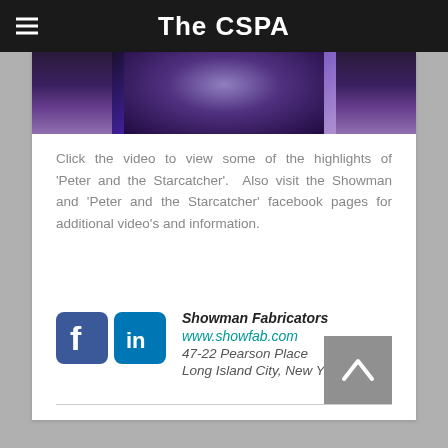The CSPA
[Figure (photo): Dark concert/stage photo showing a performer under blue and purple lighting]
Click the video to view some of the highlights of 'Peter and the Starcatcher'.  Also visit the Showman and 'Peter and the Starcatcher' facebook pages for additional video's and information.
[Figure (logo): Facebook and LinkedIn social media icons (blue rounded squares with f and in logos)]
Showman Fabricators
www.showfab.com
47-22 Pearson Place
Long Island City, New York 11101